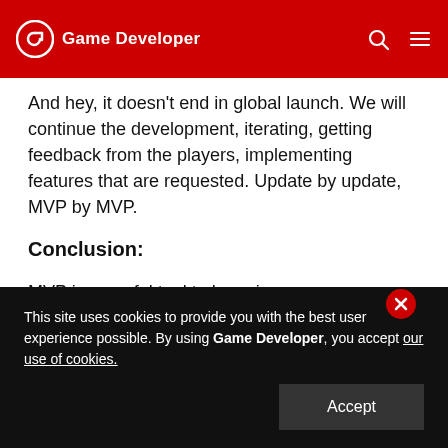Game Developer
And hey, it doesn't end in global launch. We will continue the development, iterating, getting feedback from the players, implementing features that are requested. Update by update, MVP by MVP.
Conclusion:
MVP is a useful tool to have in your game development tool case but as always, you need to bear in mind what you want to achieve with it. As a rule, it's always makes sense to review your processes from time to time and
This site uses cookies to provide you with the best user experience possible. By using Game Developer, you accept our use of cookies.
Accept